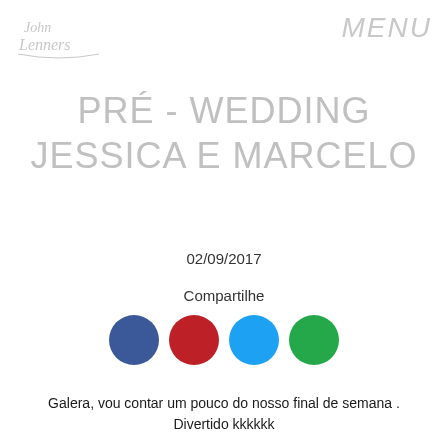[Figure (logo): Handwritten script logo reading 'John Lenners' in light gray]
MENU
PRÉ - WEDDING JESSICA E MARCELO
02/09/2017
Compartilhe
[Figure (infographic): Four social media share circles: Facebook (blue), Pinterest/Google+ (red), Twitter (light blue), WhatsApp (green)]
Galera, vou contar um pouco do nosso final de semana . Divertido kkkkkk